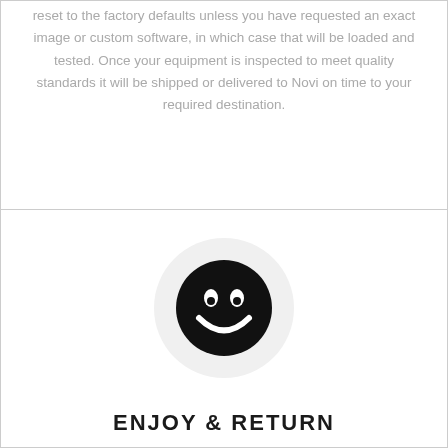reset to the factory defaults unless you have requested an exact image or custom software, in which case that will be loaded and tested. Once your equipment is inspected to meet quality standards it will be shipped or delivered to Novi on time to your required destination.
[Figure (illustration): A smiley face icon (black circle with white eyes and smile) inside a light gray circle]
ENJOY & RETURN